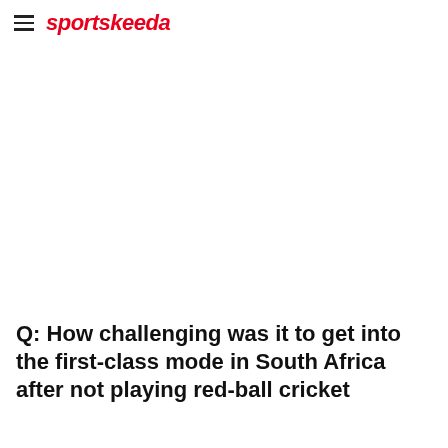sportskeeda
Q: How challenging was it to get into the first-class mode in South Africa after not playing red-ball cricket